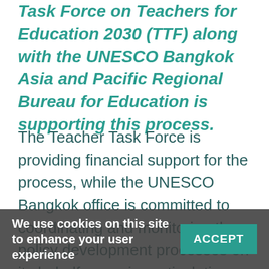Task Force on Teachers for Education 2030 (TTF) along with the UNESCO Bangkok Asia and Pacific Regional Bureau for Education is supporting this process.
The Teacher Task Force is providing financial support for the process, while the UNESCO Bangkok office is committed to coordinating and monitoring the policy development processes on its behalf, ensuring articulation with on-going sector reforms and local education groups (LEGs) activities. UNESCO Bangkok has developed synergies with national level development partners and is providing support [...]ES in
We use cookies on this site to enhance your user experience